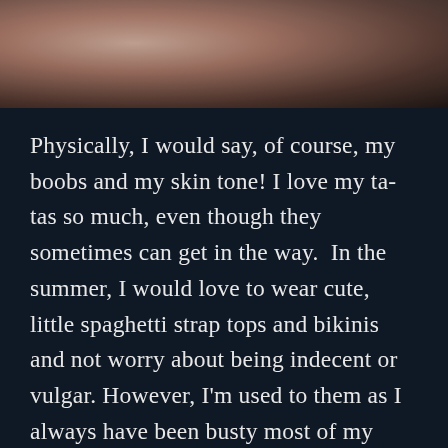[Figure (photo): Partial photo of a person at the top of the page, cropped, with dark background fading to near-black at the bottom of the image strip.]
Physically, I would say, of course, my boobs and my skin tone! I love my ta-tas so much, even though they sometimes can get in the way.  In the summer, I would love to wear cute, little spaghetti strap tops and bikinis and not worry about being indecent or vulgar. However, I'm used to them as I always have been busty most of my life. When I became a sex worker, I knew that would be one way to attract clients to me.  That's